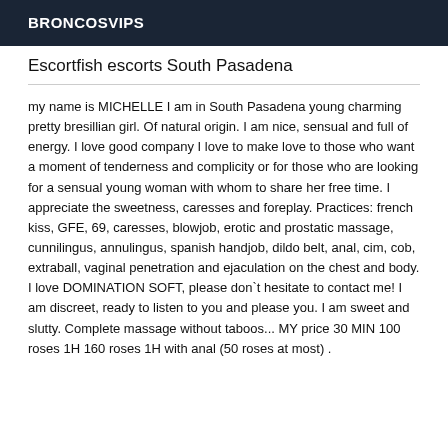BRONCOSVIPS
Escortfish escorts South Pasadena
my name is MICHELLE I am in South Pasadena young charming pretty bresillian girl. Of natural origin. I am nice, sensual and full of energy. I love good company I love to make love to those who want a moment of tenderness and complicity or for those who are looking for a sensual young woman with whom to share her free time. I appreciate the sweetness, caresses and foreplay. Practices: french kiss, GFE, 69, caresses, blowjob, erotic and prostatic massage, cunnilingus, annulingus, spanish handjob, dildo belt, anal, cim, cob, extraball, vaginal penetration and ejaculation on the chest and body. I love DOMINATION SOFT, please don`t hesitate to contact me! I am discreet, ready to listen to you and please you. I am sweet and slutty. Complete massage without taboos... MY price 30 MIN 100 roses 1H 160 roses 1H with anal (50 roses at most) .